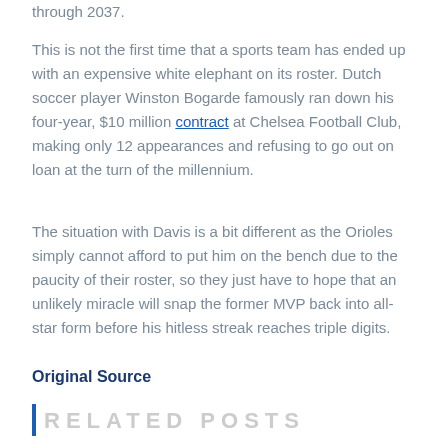through 2037.
This is not the first time that a sports team has ended up with an expensive white elephant on its roster. Dutch soccer player Winston Bogarde famously ran down his four-year, $10 million contract at Chelsea Football Club, making only 12 appearances and refusing to go out on loan at the turn of the millennium.
The situation with Davis is a bit different as the Orioles simply cannot afford to put him on the bench due to the paucity of their roster, so they just have to hope that an unlikely miracle will snap the former MVP back into all-star form before his hitless streak reaches triple digits.
Original Source